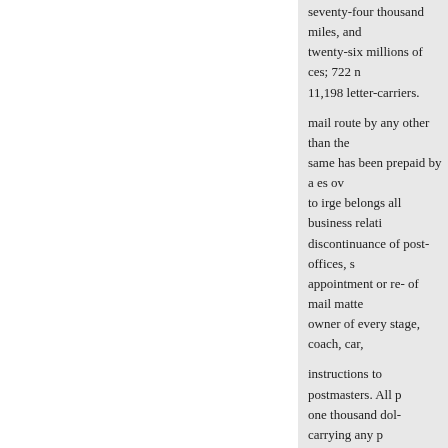seventy-four thousand miles, and twenty-six millions of ces; 722 n 11,198 letter-carriers.
mail route by any other than the same has been prepaid by a es ov to irge belongs all business relati discontinuance of post-offices, s appointment or re- of mail matte owner of every stage, coach, car,
instructions to postmasters. All p one thousand dol- carrying any p Finances.—The Post-office Dep
mail steamship lines, and all fore
akota. rizona. laho ontana.
...
58
25